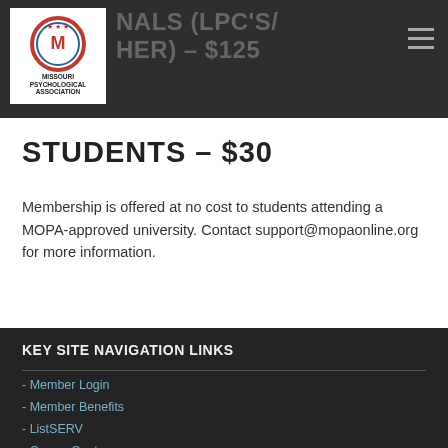PROFESSIONALS (LPC'S / OTHER) – $125
[Figure (logo): Missouri Psychological Association logo with circular emblem and organization name]
STUDENTS – $30
Membership is offered at no cost to students attending a MOPA-approved university. Contact support@mopaonline.org for more information.
KEY SITE NAVIGATION LINKS
- Member Login
- Member Benefits
- ListSERV
- Career Center